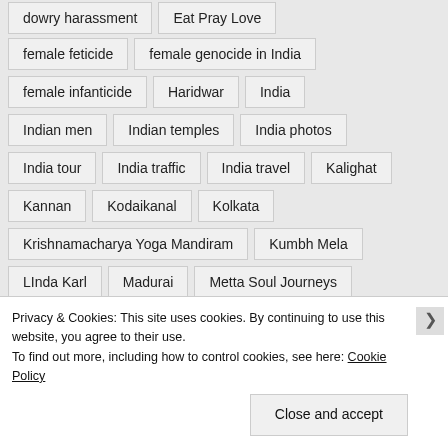dowry harassment
Eat Pray Love
female feticide
female genocide in India
female infanticide
Haridwar
India
Indian men
Indian temples
India photos
India tour
India traffic
India travel
Kalighat
Kannan
Kodaikanal
Kolkata
Krishnamacharya Yoga Mandiram
Kumbh Mela
LInda Karl
Madurai
Metta Soul Journeys
Metta Yoga
Polardroid
Pondicherry
Pangal
Privacy & Cookies: This site uses cookies. By continuing to use this website, you agree to their use.
To find out more, including how to control cookies, see here: Cookie Policy